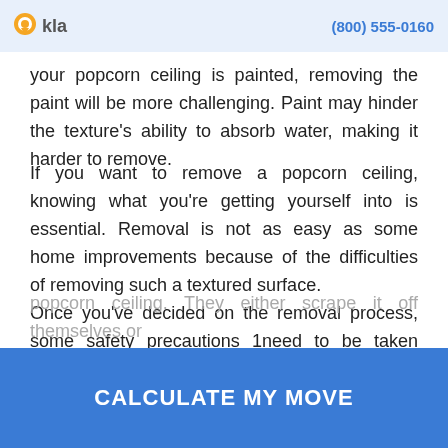Makle · (800) 555-0160
your popcorn ceiling is painted, removing the paint will be more challenging. Paint may hinder the texture's ability to absorb water, making it harder to remove.
If you want to remove a popcorn ceiling, knowing what you're getting yourself into is essential. Removal is not as easy as some home improvements because of the difficulties of removing such a textured surface.
Once you've decided on the removal process, some safety precautions 1need to be taken before beginning work. Preparing the work area is an essential part of the process that should not be overlooked. There are several different ways that people use to remove a
popcorn ceiling. They either scrape it off themselves or
CALCULATE MY MOVE